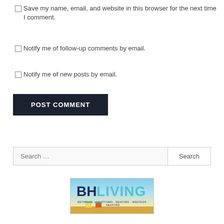Save my name, email, and website in this browser for the next time I comment.
Notify me of follow-up comments by email.
Notify me of new posts by email.
POST COMMENT
Search …
[Figure (logo): BH LIVING logo with beach scene background]